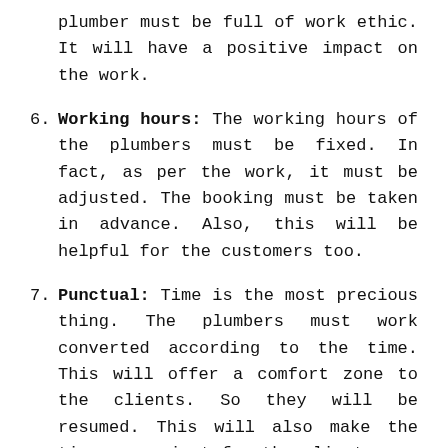plumber must be full of work ethic. It will have a positive impact on the work.
6. Working hours: The working hours of the plumbers must be fixed. In fact, as per the work, it must be adjusted. The booking must be taken in advance. Also, this will be helpful for the customers too.
7. Punctual: Time is the most precious thing. The plumbers must work converted according to the time. This will offer a comfort zone to the clients. So they will be resumed. This will also make the time convenient for the client.
8. Check online: There are many plumbers or shops that have online portals. Online there are